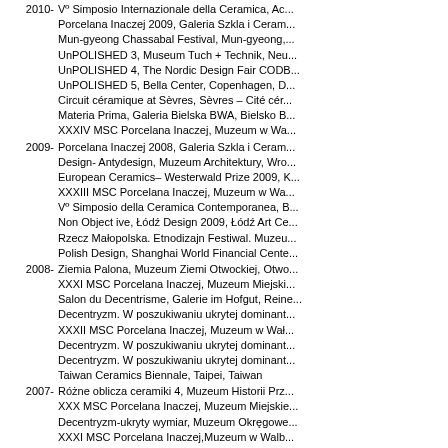2010- Vº Simposio Internazionale della Ceramica, Ac...
Porcelana Inaczej 2009, Galeria Szkla i Ceram...
Mun-gyeong Chassabal Festival, Mun-gyeong,...
UnPOLISHED 3, Museum Tuch + Technik, Neu...
UnPOLISHED 4, The Nordic Design Fair CODE...
UnPOLISHED 5, Bella Center, Copenhagen, D...
Circuit céramique at Sèvres, Sèvres – Cité cér...
Materia Prima, Galeria Bielska BWA, Bielsko B...
XXXIV MSC Porcelana Inaczej, Muzeum w Wa...
2009- Porcelana Inaczej 2008, Galeria Szkla i Ceram...
Design- Antydesign, Muzeum Architektury, Wro...
European Ceramics– Westerwald Prize 2009, K...
XXXIII MSC Porcelana Inaczej, Muzeum w Wa...
Vº Simposio della Ceramica Contemporanea, B...
Non Object ive, Łódź Design 2009, Łódź Art Ce...
Rzecz Małopolska. Etnodizajn Festiwal. Muzeu...
Polish Design, Shanghai World Financial Cente...
2008- Ziemia Palona, Muzeum Ziemi Otwockiej, Otwo...
XXXI MSC Porcelana Inaczej, Muzeum Miejski...
Salon du Decentrisme, Galerie im Hofgut, Reine...
Decentryzm. W poszukiwaniu ukrytej dominant...
XXXII MSC Porcelana Inaczej, Muzeum w Wał...
Decentryzm. W poszukiwaniu ukrytej dominant...
Decentryzm. W poszukiwaniu ukrytej dominant...
Taiwan Ceramics Biennale, Taipei, Taiwan
2007- Różne oblicza ceramiki 4, Muzeum Historii Prz...
XXX MSC Porcelana Inaczej, Muzeum Miejskie...
Decentryzm-ukryty wymiar, Muzeum Okręgowe...
XXXI MSC Porcelana Inaczej,Muzeum w Walb...
Dom Polski, Łódz Design 2007, Łódz Art Cente...
Dark & Light, Galerie Santee, Nietap, Netherlan...
Sztuka Ognia/Art of Fire, Galeria Design, Wroc...
Różne oblicza ceramiki 8, Fabryka Norblina, W...
2006- Small pleasures of Life", New Delhi, India (The...
XXX MSC Porcelana Inaczej, Muzeum w Wałb...
2005- Theepottenshow, Goudse Keramiek Dagen, Go...
The Polish Art of the Object, Racim Gallery, Alg...
Transdesign, Hessisches Ministerium für Wisse...